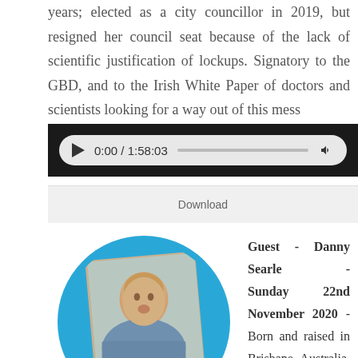years; elected as a city councillor in 2019, but resigned her council seat because of the lack of scientific justification of lockups. Signatory to the GBD, and to the Irish White Paper of doctors and scientists looking for a way out of this mess
[Figure (screenshot): Audio player showing 0:00 / 1:58:03 with play button, progress bar, and volume icon on dark background]
Download
[Figure (photo): Profile photo of Danny Searle in a circular blue frame with name bar below reading Danny Searle - Spiritual Guidance Counsellor]
Guest - Danny Searle - Sunday 22nd November 2020 - Born and raised in Brisbane, Australia, Danny Searle is a highly successful